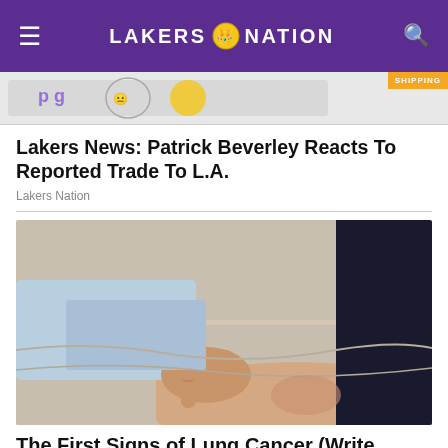LAKERS NATION
[Figure (screenshot): Ad strip with shipping badge and partial advertisement imagery]
Lakers News: Patrick Beverley Reacts To Reported Trade To L.A.
Lakers Nation
[Figure (photo): Medical photo showing a hand pointing at a person's ankle/leg on a medical examination table, suggesting symptoms of lung cancer]
The First Signs of Lung Cancer (Write These Down)